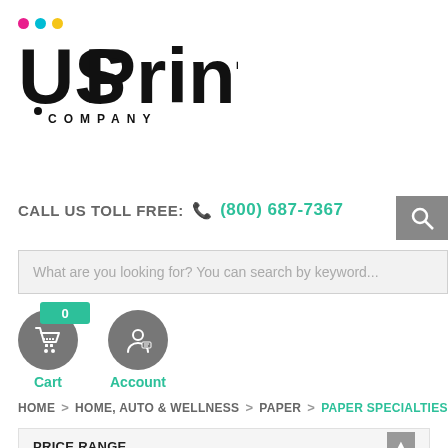[Figure (logo): US Printing Company logo with three colored dots (magenta, cyan, yellow) above bold text 'US Printing' with 'COMPANY' beneath]
CALL US TOLL FREE: (800) 687-7367
What are you looking for? You can search by keyword...
Cart
Account
HOME > HOME, AUTO & WELLNESS > PAPER > PAPER SPECIALTIES
PRICE RANGE